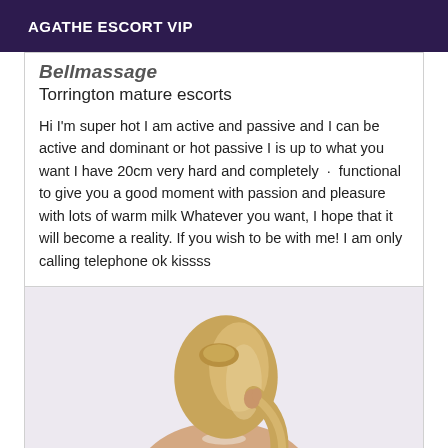AGATHE ESCORT VIP
Torrington mature escorts
Hi I'm super hot I am active and passive and I can be active and dominant or hot passive I is up to what you want I have 20cm very hard and completely · functional to give you a good moment with passion and pleasure with lots of warm milk Whatever you want, I hope that it will become a reality. If you wish to be with me! I am only calling telephone ok kissss
[Figure (photo): Woman with blonde hair photographed from behind, bare shoulders, light background]